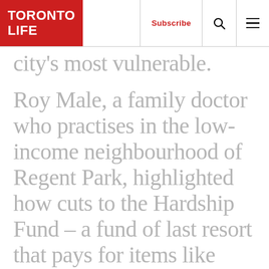TORONTO LIFE | Subscribe | [search] | [menu]
city's most vulnerable.
Roy Male, a family doctor who practises in the low-income neighbourhood of Regent Park, highlighted how cuts to the Hardship Fund – a fund of last resort that pays for items like prosthetics and wheelchairs – will affect